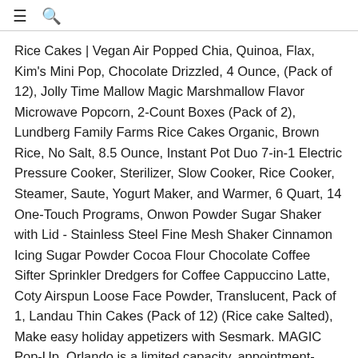≡ 🔍
Rice Cakes | Vegan Air Popped Chia, Quinoa, Flax, Kim's Mini Pop, Chocolate Drizzled, 4 Ounce, (Pack of 12), Jolly Time Mallow Magic Marshmallow Flavor Microwave Popcorn, 2-Count Boxes (Pack of 2), Lundberg Family Farms Rice Cakes Organic, Brown Rice, No Salt, 8.5 Ounce, Instant Pot Duo 7-in-1 Electric Pressure Cooker, Sterilizer, Slow Cooker, Rice Cooker, Steamer, Saute, Yogurt Maker, and Warmer, 6 Quart, 14 One-Touch Programs, Onwon Powder Sugar Shaker with Lid - Stainless Steel Fine Mesh Shaker Cinnamon Icing Sugar Powder Cocoa Flour Chocolate Coffee Sifter Sprinkler Dredgers for Coffee Cappuccino Latte, Coty Airspun Loose Face Powder, Translucent, Pack of 1, Landau Thin Cakes (Pack of 12) (Rice cake Salted), Make easy holiday appetizers with Sesmark. MAGIC Pop-Up, Orlando is a limited capacity, appointment-driven trade event gathering a retail audience of big-box, online, specialty, and boutique retail buyers. Free to join, pay only for what you use. Customers who bought this item also bought. collect them all! You can have a rest and please slide to verify. If your local game store is